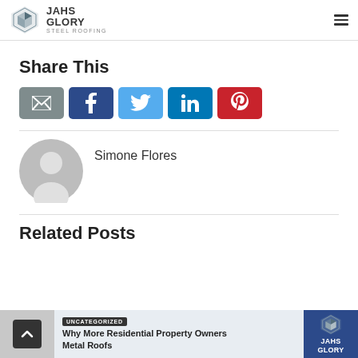JAHS GLORY STEEL ROOFING
Share This
[Figure (infographic): Social share buttons: email (grey), Facebook (dark blue), Twitter (light blue), LinkedIn (teal blue), Pinterest (red)]
Simone Flores
Related Posts
Why More Residential Property Owners Metal Roofs
UNCATEGORIZED